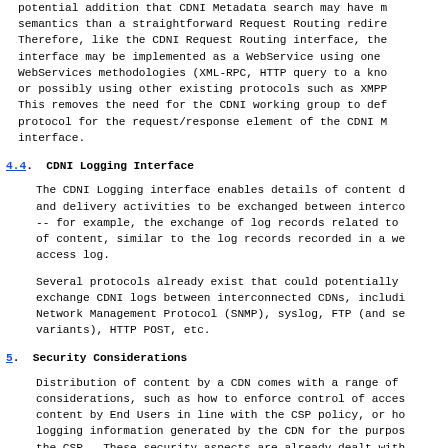potential addition that CDNI Metadata search may have more complex semantics than a straightforward Request Routing redirect. Therefore, like the CDNI Request Routing interface, the interface may be implemented as a WebService using one of WebServices methodologies (XML-RPC, HTTP query to a known URI, or possibly using other existing protocols such as XMPP etc). This removes the need for the CDNI working group to define a protocol for the request/response element of the CDNI Metadata interface.
4.4.  CDNI Logging Interface
The CDNI Logging interface enables details of content distribution and delivery activities to be exchanged between interconnected CDNs -- for example, the exchange of log records related to the delivery of content, similar to the log records recorded in a web server access log.
Several protocols already exist that could potentially be used to exchange CDNI logs between interconnected CDNs, including Simple Network Management Protocol (SNMP), syslog, FTP (and secure variants), HTTP POST, etc.
5.  Security Considerations
Distribution of content by a CDN comes with a range of security considerations, such as how to enforce control of access to the content by End Users in line with the CSP policy, or how to protect logging information generated by the CDN for the purposes of billing the CSP.  These security aspects are already dealt with by CDN Providers and CSPs today in the context of standalone C